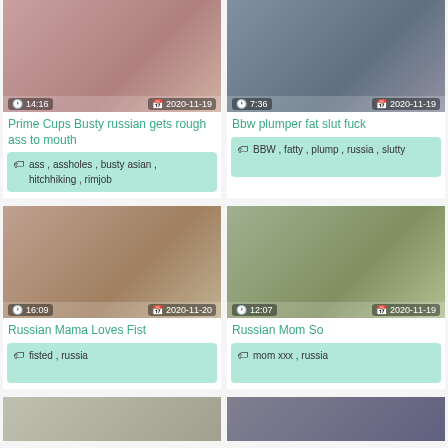[Figure (photo): Thumbnail of video: Prime Cups Busty russian gets rough ass to mouth. Duration 14:16, date 2020-11-19]
Prime Cups Busty russian gets rough ass to mouth
ass , assholes , busty asian , hitchhiking , rimjob
[Figure (photo): Thumbnail of video: Bbw plumper fat slut fuck. Duration 7:36, date 2020-11-19]
Bbw plumper fat slut fuck
BBW , fatty , plump , russia , slutty
[Figure (photo): Thumbnail of video: Russian Mama Loves Fist. Duration 16:09, date 2020-11-20]
Russian Mama Loves Fist
fisted , russia
[Figure (photo): Thumbnail of video: Russian Mom So. Duration 12:07, date 2020-11-19]
Russian Mom So
mom xxx , russia